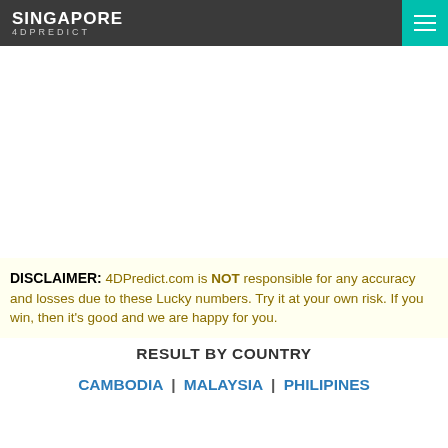SINGAPORE 4DPREDICT
DISCLAIMER: 4DPredict.com is NOT responsible for any accuracy and losses due to these Lucky numbers. Try it at your own risk. If you win, then it's good and we are happy for you.
RESULT BY COUNTRY
CAMBODIA | MALAYSIA | PHILIPINES